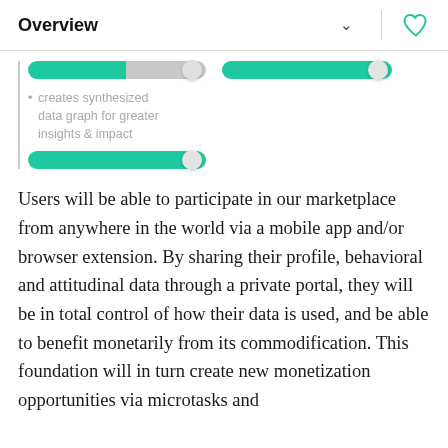Overview
[Figure (infographic): UI sliders (toggle/range controls) shown in green and gray, with a bullet point text reading: creates synthesized data graph for greater insights & impact]
Users will be able to participate in our marketplace from anywhere in the world via a mobile app and/or browser extension. By sharing their profile, behavioral and attitudinal data through a private portal, they will be in total control of how their data is used, and be able to benefit monetarily from its commodification. This foundation will in turn create new monetization opportunities via microtasks and